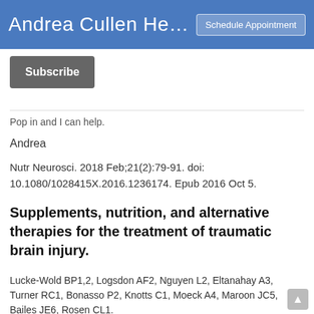Andrea Cullen He… | Schedule Appointment
Subscribe
Pop in and I can help.
Andrea
Nutr Neurosci. 2018 Feb;21(2):79-91. doi: 10.1080/1028415X.2016.1236174. Epub 2016 Oct 5.
Supplements, nutrition, and alternative therapies for the treatment of traumatic brain injury.
Lucke-Wold BP1,2, Logsdon AF2, Nguyen L2, Eltanahay A3, Turner RC1, Bonasso P2, Knotts C1, Moeck A4, Maroon JC5, Bailes JE6, Rosen CL1.